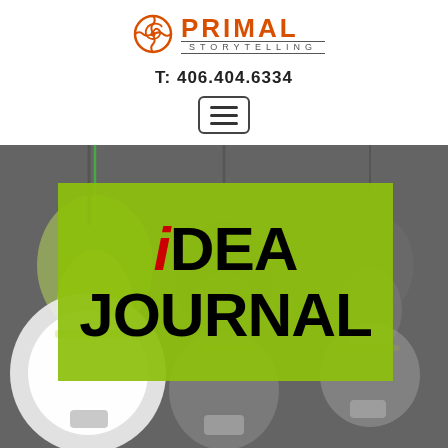[Figure (logo): Primal Storytelling logo with orange sun/spiral icon and text]
T: 406.404.6334
[Figure (other): Hamburger menu button icon]
[Figure (photo): Grayscale photo of hanging light bulbs with green overlay band containing the text iDEA JOURNAL]
iDEA JOURNAL